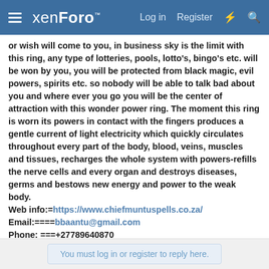xenForo | Log in | Register
or wish will come to you, in business sky is the limit with this ring, any type of lotteries, pools, lotto's, bingo's etc. will be won by you, you will be protected from black magic, evil powers, spirits etc. so nobody will be able to talk bad about you and where ever you go you will be the center of attraction with this wonder power ring. The moment this ring is worn its powers in contact with the fingers produces a gentle current of light electricity which quickly circulates throughout every part of the body, blood, veins, muscles and tissues, recharges the whole system with powers-refills the nerve cells and every organ and destroys diseases, germs and bestows new energy and power to the weak body.
Web info:=https://www.chiefmuntuspells.co.za/
Email:====bbaantu@gmail.com
Phone: ===+27789640870
WhatsApp=+27789121499
You must log in or register to reply here.